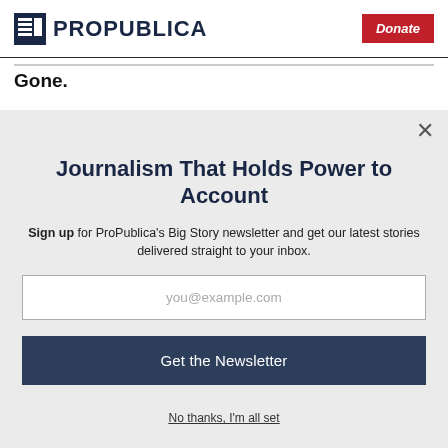ProPublica | Donate
Gone.
Journalism That Holds Power to Account
Sign up for ProPublica's Big Story newsletter and get our latest stories delivered straight to your inbox.
you@example.com
Get the Newsletter
No thanks, I'm all set
This site is protected by reCAPTCHA and the Google Privacy Policy and Terms of Service apply.